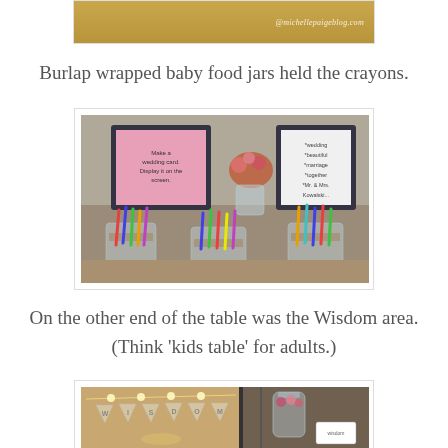[Figure (photo): Partial photo with burlap/tan background and watermark '@michellepaigeblog.com']
Burlap wrapped baby food jars held the crayons.
[Figure (photo): Photo of three burlap-wrapped baby food jars holding colorful crayons on a table, with framed signs and flowers in the background]
On the other end of the table was the Wisdom area. (Think 'kids table' for adults.)
[Figure (photo): Partial photo showing a banner with burlap flags spelling 'WISDOM' with string lights, and a side view of mason jars with flowers]